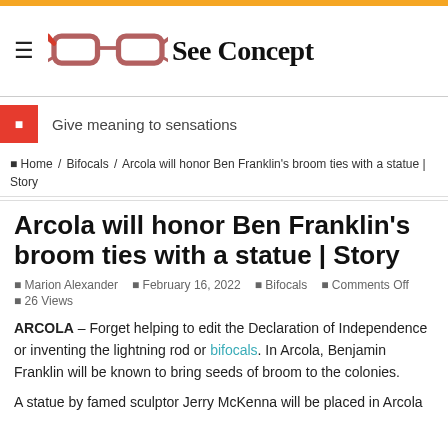See Concept
Give meaning to sensations
Home / Bifocals / Arcola will honor Ben Franklin's broom ties with a statue | Story
Arcola will honor Ben Franklin's broom ties with a statue | Story
Marion Alexander   February 16, 2022   Bifocals   Comments Off   26 Views
ARCOLA – Forget helping to edit the Declaration of Independence or inventing the lightning rod or bifocals. In Arcola, Benjamin Franklin will be known to bring seeds of broom to the colonies.

A statue by famed sculptor Jerry McKenna will be placed in Arcola…